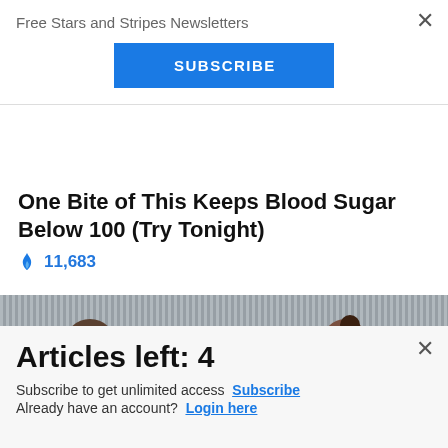Free Stars and Stripes Newsletters
SUBSCRIBE
One Bite of This Keeps Blood Sugar Below 100 (Try Tonight)
🔥 11,683
[Figure (photo): Two people visible from the shoulders up, in front of a corrugated metal background]
[Figure (logo): Commissary Click2Go advertisement banner with green circle logo and Commissary badge, text reads 'order groceries']
Articles left: 4
Subscribe to get unlimited access  Subscribe Already have an account?  Login here